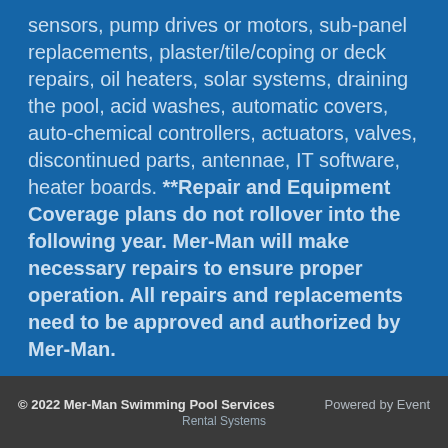sensors, pump drives or motors, sub-panel replacements, plaster/tile/coping or deck repairs, oil heaters, solar systems, draining the pool, acid washes, automatic covers, auto-chemical controllers, actuators, valves, discontinued parts, antennae, IT software, heater boards. **Repair and Equipment Coverage plans do not rollover into the following year. Mer-Man will make necessary repairs to ensure proper operation. All repairs and replacements need to be approved and authorized by Mer-Man.
© 2022 Mer-Man Swimming Pool Services    Powered by Event    Rental Systems